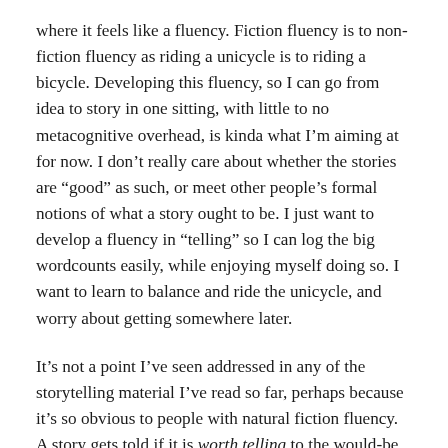where it feels like a fluency. Fiction fluency is to non-fiction fluency as riding a unicycle is to riding a bicycle. Developing this fluency, so I can go from idea to story in one sitting, with little to no metacognitive overhead, is kinda what I’m aiming at for now. I don’t really care about whether the stories are “good” as such, or meet other people’s formal notions of what a story ought to be. I just want to develop a fluency in “telling” so I can log the big wordcounts easily, while enjoying myself doing so. I want to learn to balance and ride the unicycle, and worry about getting somewhere later.
It’s not a point I’ve seen addressed in any of the storytelling material I’ve read so far, perhaps because it’s so obvious to people with natural fiction fluency. A story gets told if it is worth telling to the would-be teller, and is tellable. Just as an essay gets written if it is essayworthy to the would-be essayist, and essayable. It’s like whether a flight plan gets flown. The flight plan has to be tripworthy it for the pilot to do the actual